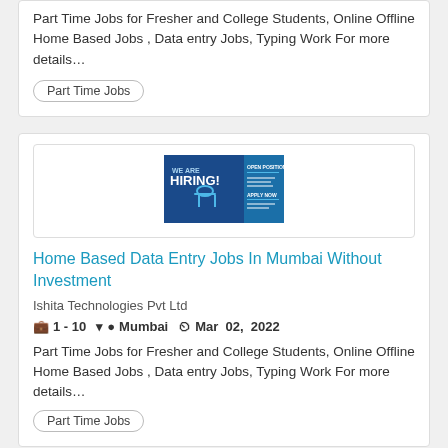Part Time Jobs for Fresher and College Students, Online Offline Home Based Jobs , Data entry Jobs, Typing Work For more details…
Part Time Jobs
[Figure (screenshot): A blue 'We Are Hiring' banner image with a chair graphic and text about open positions.]
Home Based Data Entry Jobs In Mumbai Without Investment
Ishita Technologies Pvt Ltd
1 - 10  Mumbai  Mar 02, 2022
Part Time Jobs for Fresher and College Students, Online Offline Home Based Jobs , Data entry Jobs, Typing Work For more details…
Part Time Jobs
[Figure (screenshot): A blue 'We Are Hiring' banner image with a chair graphic, partially visible at bottom of page.]